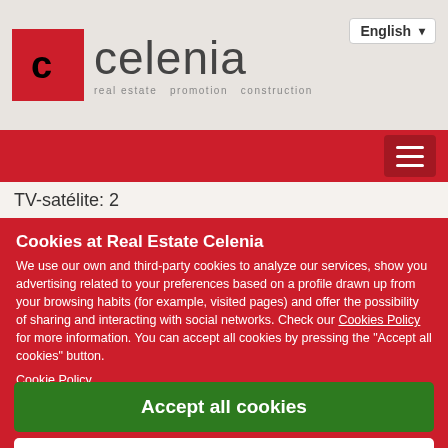[Figure (logo): Celenia real estate promotion construction logo with red square icon bearing letter c and company name text]
English
[Figure (other): Red navigation bar with hamburger menu icon]
TV-satélite: 2
Cookies at Real Estate Celenia
We use our own and third-party cookies to analyze our services, show you advertising related to your preferences based on a profile drawn up from your browsing habits (for example, visited pages) and offer the possibility of sharing and interacting with social networks. Check our Cookies Policy for more information. You can accept all cookies by pressing the "Accept all cookies" button.
Cookie Policy
Accept all cookies
Accept only essential cookies